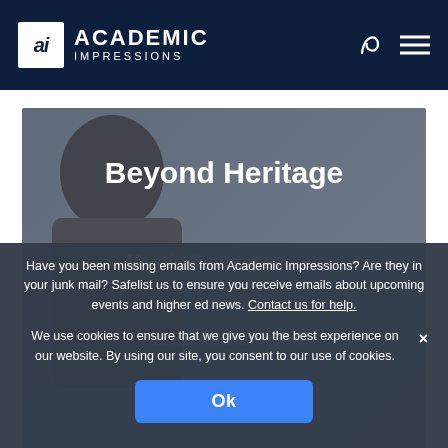Academic Impressions
[Figure (photo): Hero image with a person in the foreground against a gray background, overlaid with text about 'Beyond Heritage Month: Supporting and Empowering Pacific Islander Desi American (APIDA) Communities as']
Have you been missing emails from Academic Impressions? Are they in your junk mail? Safelist us to ensure you receive emails about upcoming events and higher ed news. Contact us for help.
We use cookies to ensure that we give you the best experience on our website. By using our site, you consent to our use of cookies.
Ok